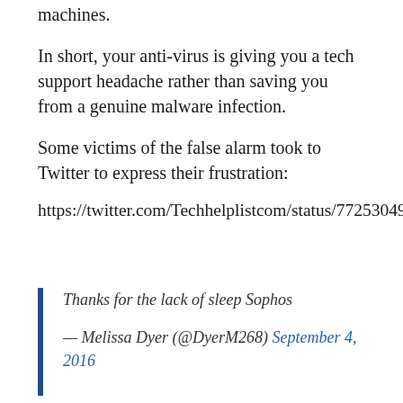machines.
In short, your anti-virus is giving you a tech support headache rather than saving you from a genuine malware infection.
Some victims of the false alarm took to Twitter to express their frustration:
https://twitter.com/Techhelplistcom/status/772530498...
Thanks for the lack of sleep Sophos

— Melissa Dyer (@DyerM268) September 4, 2016